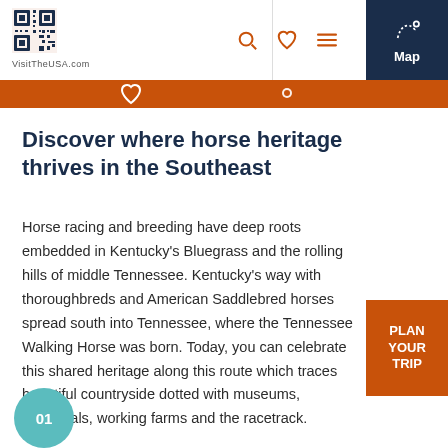VisitTheUSA.com — Map
Discover where horse heritage thrives in the Southeast
Horse racing and breeding have deep roots embedded in Kentucky's Bluegrass and the rolling hills of middle Tennessee. Kentucky's way with thoroughbreds and American Saddlebred horses spread south into Tennessee, where the Tennessee Walking Horse was born. Today, you can celebrate this shared heritage along this route which traces beautiful countryside dotted with museums, memorials, working farms and the racetrack.
PLAN YOUR TRIP